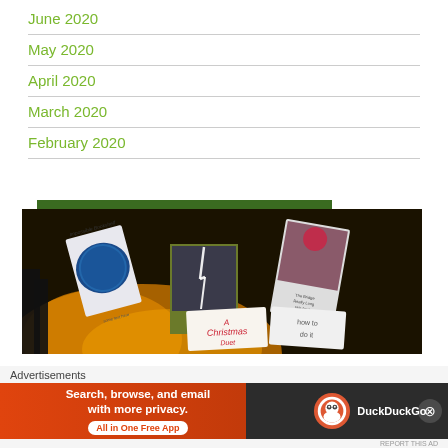June 2020
May 2020
April 2020
March 2020
February 2020
[Figure (photo): Book covers displayed with orange dramatic light background, including 'A Christmas' book and several other books, with a dark green banner at top]
Advertisements
[Figure (screenshot): DuckDuckGo advertisement banner: 'Search, browse, and email with more privacy. All in One Free App' on orange background with DuckDuckGo logo on dark background]